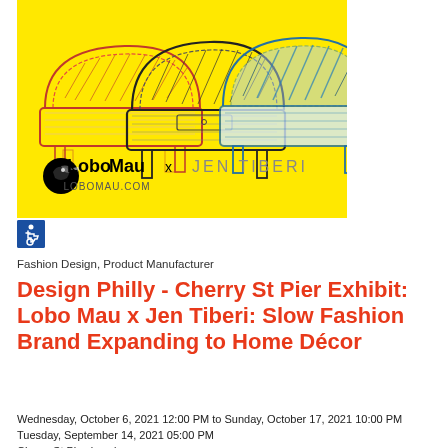[Figure (illustration): Yellow background promotional image showing three hand-drawn sketch armchairs colored in red/orange, black/grey, and blue. Below the chairs is the Lobo Mau bird logo with text 'Lobo Mau x JEN TIBERI' and 'LOBOMAU.COM'.]
[Figure (other): Accessibility icon - wheelchair symbol in white on dark blue background]
Fashion Design, Product Manufacturer
Design Philly - Cherry St Pier Exhibit: Lobo Mau x Jen Tiberi: Slow Fashion Brand Expanding to Home Décor
Wednesday, October 6, 2021 12:00 PM to Sunday, October 17, 2021 10:00 PM Tuesday, September 14, 2021 05:00 PM Cherry St Pier (map)